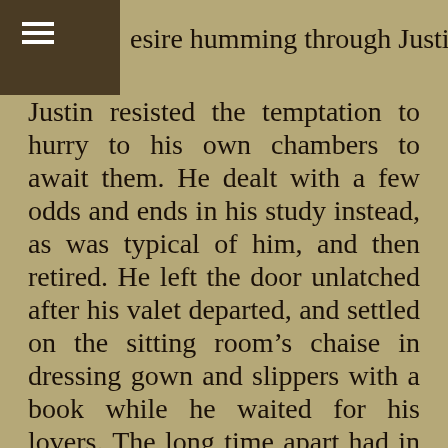esire humming through Justin's veins.
Justin resisted the temptation to hurry to his own chambers to await them. He dealt with a few odds and ends in his study instead, as was typical of him, and then retired. He left the door unlatched after his valet departed, and settled on the sitting room's chaise in dressing gown and slippers with a book while he waited for his lovers. The long time apart had in no way diminished his ardor. He knew he ought to do something to break this addiction, to better brace himself for the inevitable ending, but Justin did not know what. Withdrawing from them while they were